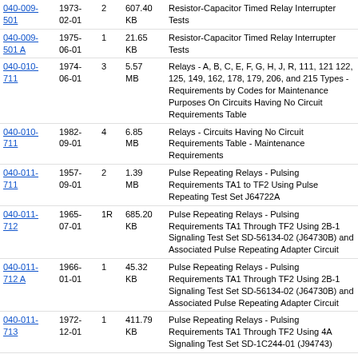| Document | Date | Rev | Size | Title |
| --- | --- | --- | --- | --- |
| 040-009-501 | 1973-02-01 | 2 | 607.40 KB | Resistor-Capacitor Timed Relay Interrupter Tests |
| 040-009-501 A | 1975-06-01 | 1 | 21.65 KB | Resistor-Capacitor Timed Relay Interrupter Tests |
| 040-010-711 | 1974-06-01 | 3 | 5.57 MB | Relays - A, B, C, E, F, G, H, J, R, 111, 121 122, 125, 149, 162, 178, 179, 206, and 215 Types - Requirements by Codes for Maintenance Purposes On Circuits Having No Circuit Requirements Table |
| 040-010-711 | 1982-09-01 | 4 | 6.85 MB | Relays - Circuits Having No Circuit Requirements Table - Maintenance Requirements |
| 040-011-711 | 1957-09-01 | 2 | 1.39 MB | Pulse Repeating Relays - Pulsing Requirements TA1 to TF2 Using Pulse Repeating Test Set J64722A |
| 040-011-712 | 1965-07-01 | 1R | 685.20 KB | Pulse Repeating Relays - Pulsing Requirements TA1 Through TF2 Using 2B-1 Signaling Test Set SD-56134-02 (J64730B) and Associated Pulse Repeating Adapter Circuit |
| 040-011-712 A | 1966-01-01 | 1 | 45.32 KB | Pulse Repeating Relays - Pulsing Requirements TA1 Through TF2 Using 2B-1 Signaling Test Set SD-56134-02 (J64730B) and Associated Pulse Repeating Adapter Circuit |
| 040-011-713 | 1972-12-01 | 1 | 411.79 KB | Pulse Repeating Relays - Pulsing Requirements TA1 Through TF2 Using 4A Signaling Test Set SD-1C244-01 (J94743) |
| 040-012-711 | 1979-04-01 | 9 | 1.60 MB | Pulse Repeating Relays - Pulse Requirements A1 Through J1 Using Pulsing Test Set SD-31481-01 (J34717A) and Pulse Repeating Test Set SD-31667-01 (J34720A) |